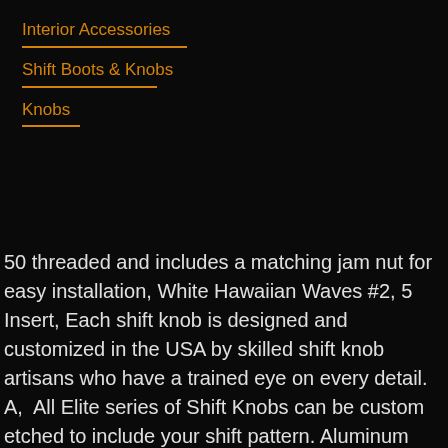Interior Accessories
Shift Boots & Knobs
Knobs
50 threaded and includes a matching jam nut for easy installation, White Hawaiian Waves #2, 5 Insert, Each shift knob is designed and customized in the USA by skilled shift knob artisans who have a trained eye on every detail. A,  All Elite series of Shift Knobs can be custom etched to include your shift pattern. Aluminum inserts are only found on the high quality shift knobs as they do not rust like standard metal inserts. 's Elite series shift knobs are made from the highest quality components resulting in a superior feel on every shift T, s also offers an engrave only feature that uses A. You should